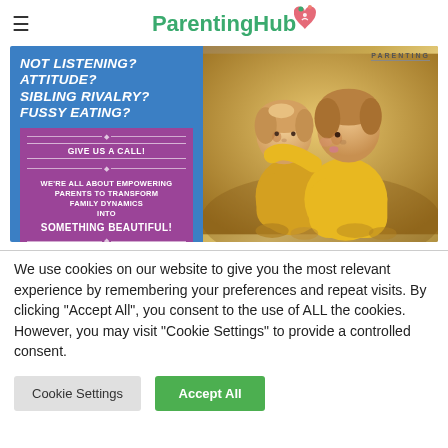ParentingHub
[Figure (advertisement): Ad banner for munchkins.me parenting services. Left blue section: 'NOT LISTENING? ATTITUDE? SIBLING RIVALRY? FUSSY EATING?' with purple box 'GIVE US A CALL! WE'RE ALL ABOUT EMPOWERING PARENTS TO TRANSFORM FAMILY DYNAMICS INTO SOMETHING BEAUTIFUL!' and contact info 'Email on info@munchkins.me www.munchkins.me'. Right side: photo of two young children, one kissing the other on the cheek, with 'PARENTING' label.]
We use cookies on our website to give you the most relevant experience by remembering your preferences and repeat visits. By clicking "Accept All", you consent to the use of ALL the cookies. However, you may visit "Cookie Settings" to provide a controlled consent.
Cookie Settings | Accept All